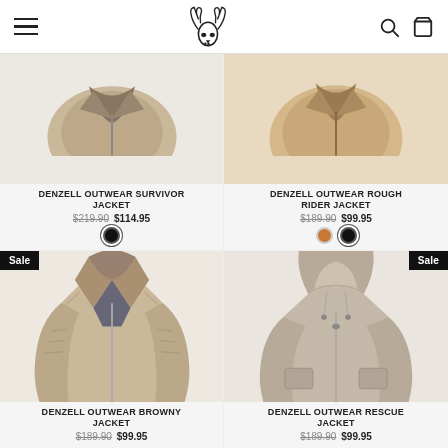Denzell Outwear - navigation header with hamburger menu, deer skull logo, search and cart icons
[Figure (photo): Partial view of Denzell Outwear Survivor Jacket product image (top cropped)]
DENZELL OUTWEAR SURVIVOR JACKET
$219.90 $114.95
[Figure (photo): Partial view of Denzell Outwear Rough Rider Jacket product image (top cropped)]
DENZELL OUTWEAR ROUGH RIDER JACKET
$189.90 $99.95
[Figure (photo): Denzell Outwear Browny Jacket - beige/tan leather biker jacket, Sale badge]
DENZELL OUTWEAR BROWNY JACKET
$189.90 $99.95
[Figure (photo): Denzell Outwear Rescue Jacket - beige hooded jacket, Sale badge]
DENZELL OUTWEAR RESCUE JACKET
$189.90 $99.95